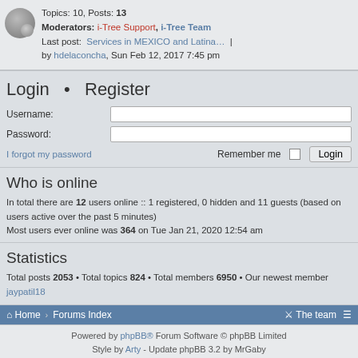Topics: 10, Posts: 13
Moderators: i-Tree Support, i-Tree Team
Last post: Services in MEXICO and Latina… | by hdelaconcha, Sun Feb 12, 2017 7:45 pm
Login • Register
Username:
Password:
I forgot my password
Remember me  Login
Who is online
In total there are 12 users online :: 1 registered, 0 hidden and 11 guests (based on users active over the past 5 minutes)
Most users ever online was 364 on Tue Jan 21, 2020 12:54 am
Statistics
Total posts 2053 • Total topics 824 • Total members 6950 • Our newest member jaypatil18
Home › Forums Index   The team  ≡
Powered by phpBB® Forum Software © phpBB Limited
Style by Arty - Update phpBB 3.2 by MrGaby